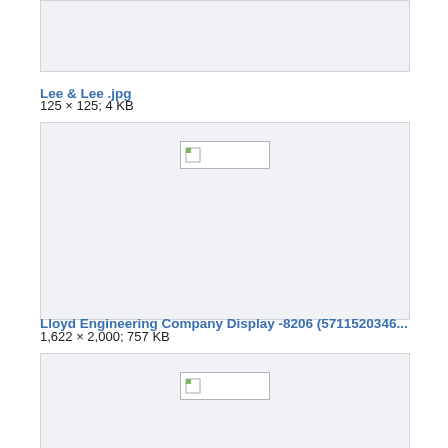[Figure (screenshot): Partial image thumbnail box at top, content cut off]
Lee & Lee .jpg
125 × 125; 4 KB
[Figure (screenshot): Broken image thumbnail placeholder centered in a light gray box]
Lloyd Engineering Company Display -8206 (5711520346...
1,622 × 2,000; 757 KB
[Figure (screenshot): Partial image thumbnail box at bottom, content cut off]